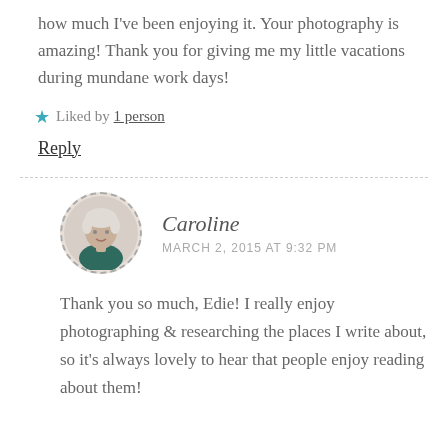how much I've been enjoying it. Your photography is amazing! Thank you for giving me my little vacations during mundane work days!
★ Liked by 1 person
Reply
Caroline
MARCH 2, 2015 AT 9:32 PM
Thank you so much, Edie! I really enjoy photographing & researching the places I write about, so it's always lovely to hear that people enjoy reading about them!